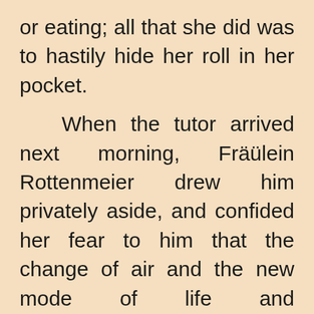or eating; all that she did was to hastily hide her roll in her pocket.

When the tutor arrived next morning, Fräülein Rottenmeier drew him privately aside, and confided her fear to him that the change of air and the new mode of life and unaccustomed surroundings had turned Heidi's head; then she told him of the incident of the day before, and of Heidi's strange speech. But the